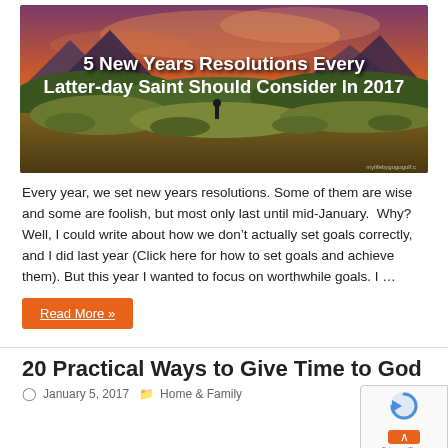[Figure (photo): A dramatic sunset landscape over rolling hills and mountains with the text '5 New Years Resolutions Every Latter-day Saint Should Consider In 2017' overlaid in bold white text. A watermark 'mylifebygogogolf.c' is in the bottom right.]
Every year, we set new years resolutions. Some of them are wise and some are foolish, but most only last until mid-January.  Why? Well, I could write about how we don't actually set goals correctly, and I did last year (Click here for how to set goals and achieve them). But this year I wanted to focus on worthwhile goals. I ...
Read More »
20 Practical Ways to Give Time to God
January 5, 2017   Home & Family